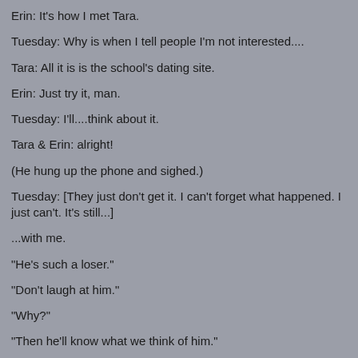Erin: It's how I met Tara.
Tuesday: Why is when I tell people I'm not interested....
Tara: All it is is the school's dating site.
Erin: Just try it, man.
Tuesday: I'll....think about it.
Tara & Erin: alright!
(He hung up the phone and sighed.)
Tuesday: [They just don't get it. I can't forget what happened. I just can't. It's still...]
...with me.
"He's such a loser."
"Don't laugh at him."
"Why?"
"Then he'll know what we think of him."
"Which is?"
"What you said earlier."